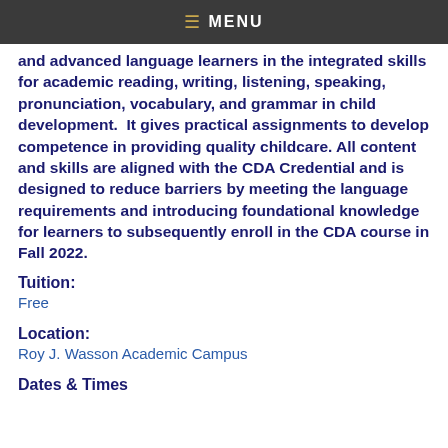MENU
and advanced language learners in the integrated skills for academic reading, writing, listening, speaking, pronunciation, vocabulary, and grammar in child development.  It gives practical assignments to develop competence in providing quality childcare. All content and skills are aligned with the CDA Credential and is designed to reduce barriers by meeting the language requirements and introducing foundational knowledge for learners to subsequently enroll in the CDA course in Fall 2022.
Tuition:
Free
Location:
Roy J. Wasson Academic Campus
Dates & Times